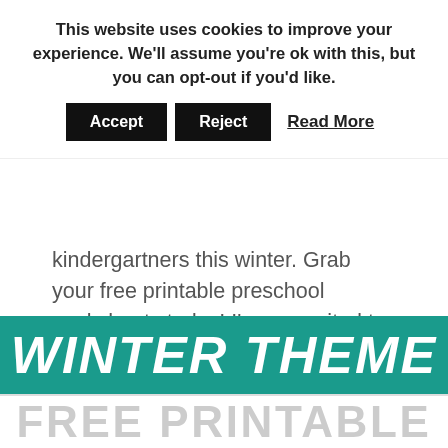This website uses cookies to improve your experience. We'll assume you're ok with this, but you can opt-out if you'd like.
Accept | Reject | Read More
kindergartners this winter. Grab your free printable preschool worksheets today! I'm so excited to share these Free Printable Comparing Penguins Winter Preschool Worksheets with you today! Your little learners will love comparing these adorable penguins while practicing…
READ MORE →
[Figure (illustration): Educational banner with teal background reading 'WINTER THEME' in large white bold italic text, with 'FREE PRINTABLE' text below in light gray on white background.]